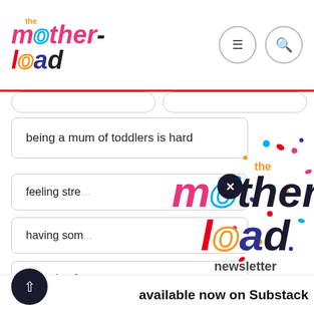[Figure (screenshot): The Motherload website header with logo and navigation icons (hamburger menu and search)]
being a mum of toddlers is hard
feeling stre...
having som...
escaping fr...
when you n... children
[Figure (logo): The Motherload Newsletter logo with confetti dots and 'available now on Substack' text]